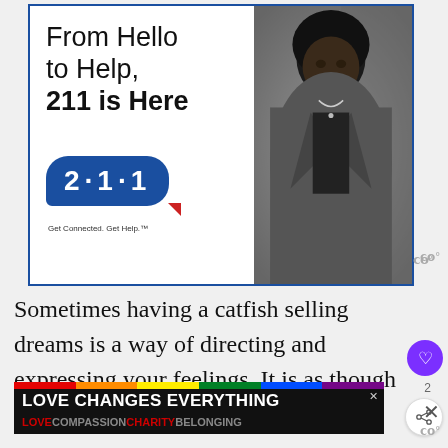[Figure (infographic): 211 advertisement banner: 'From Hello to Help, 211 is Here' with a blue speech bubble showing '2·1·1' and tagline 'Get Connected. Get Help.' Next to a black and white photo of a young woman.]
Sometimes having a catfish selling dreams is a way of directing and expressing your feelings. It is as though you are just flowing with the flow.
[Figure (infographic): Advertisement banner: 'LOVE CHANGES EVERYTHING' in white bold text on black background with rainbow stripe at top. Below: 'LOVE COMPASSION CHARITY BELONGING' in colored text.]